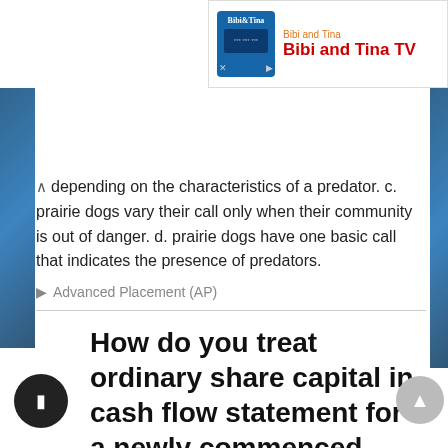[Figure (screenshot): Bibi and Tina TV advertisement banner with logo and brand name in red]
depending on the characteristics of a predator. c. prairie dogs vary their call only when their community is out of danger. d. prairie dogs have one basic call that indicates the presence of predators.
Advanced Placement (AP)
How do you treat ordinary share capital in cash flow statement for a newly commenced company i. e increase
October 23, 2021  Kimjooin02  4 Comments